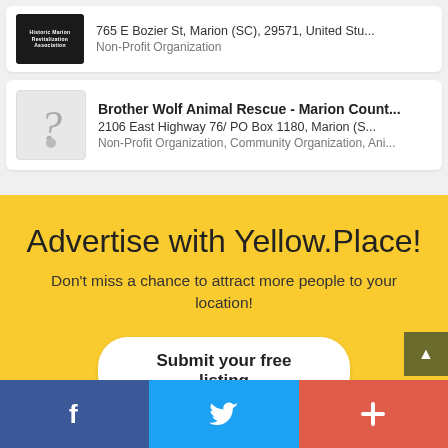765 E Bozier St, Marion (SC), 29571, United Stu... Non-Profit Organization
Brother Wolf Animal Rescue - Marion Count... | 2106 East Highway 76/ PO Box 1180, Marion (S... | Non-Profit Organization, Community Organization, Ani...
Advertise with Yellow.Place!
Don't miss a chance to attract more people to your location!
Submit your free listing
Facebook | Twitter | +